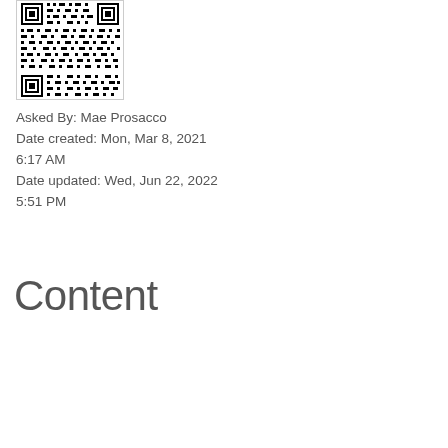[Figure (other): QR code image in a bordered box]
Asked By: Mae Prosacco
Date created: Mon, Mar 8, 2021 6:17 AM
Date updated: Wed, Jun 22, 2022 5:51 PM
Content